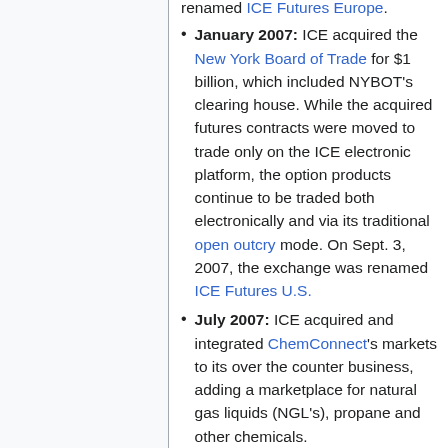January 2007: ICE acquired the New York Board of Trade for $1 billion, which included NYBOT's clearing house. While the acquired futures contracts were moved to trade only on the ICE electronic platform, the option products continue to be traded both electronically and via its traditional open outcry mode. On Sept. 3, 2007, the exchange was renamed ICE Futures U.S.
July 2007: ICE acquired and integrated ChemConnect's markets to its over the counter business, adding a marketplace for natural gas liquids (NGL's), propane and other chemicals.